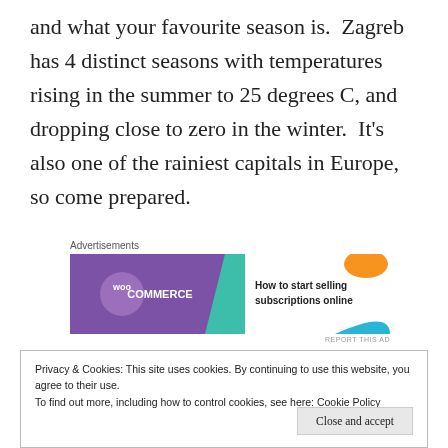and what your favourite season is. Zagreb has 4 distinct seasons with temperatures rising in the summer to 25 degrees C, and dropping close to zero in the winter. It's also one of the rainiest capitals in Europe, so come prepared.
[Figure (other): WooCommerce advertisement banner: purple background with WooCommerce logo on the left and text 'How to start selling subscriptions online' on the right with decorative shapes]
Privacy & Cookies: This site uses cookies. By continuing to use this website, you agree to their use.
To find out more, including how to control cookies, see here: Cookie Policy